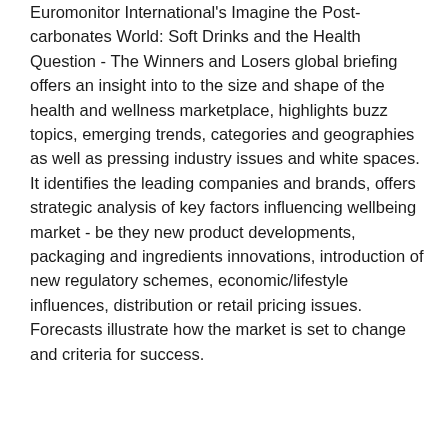Euromonitor International's Imagine the Post-carbonates World: Soft Drinks and the Health Question - The Winners and Losers global briefing offers an insight into to the size and shape of the health and wellness marketplace, highlights buzz topics, emerging trends, categories and geographies as well as pressing industry issues and white spaces. It identifies the leading companies and brands, offers strategic analysis of key factors influencing wellbeing market - be they new product developments, packaging and ingredients innovations, introduction of new regulatory schemes, economic/lifestyle influences, distribution or retail pricing issues. Forecasts illustrate how the market is set to change and criteria for success.